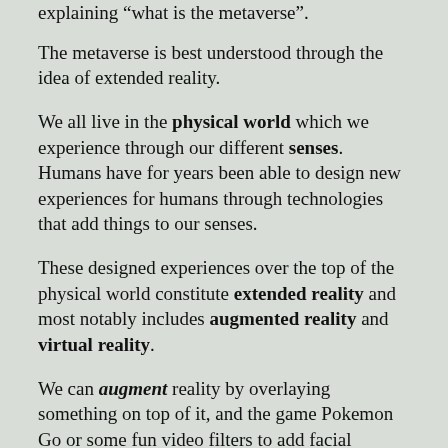explaining "what is the metaverse".
The metaverse is best understood through the idea of extended reality.
We all live in the physical world which we experience through our different senses. Humans have for years been able to design new experiences for humans through technologies that add things to our senses.
These designed experiences over the top of the physical world constitute extended reality and most notably includes augmented reality and virtual reality.
We can augment reality by overlaying something on top of it, and the game Pokemon Go or some fun video filters to add facial features or age you are great example of this. This is already used for purposes in the construction industry and in education.